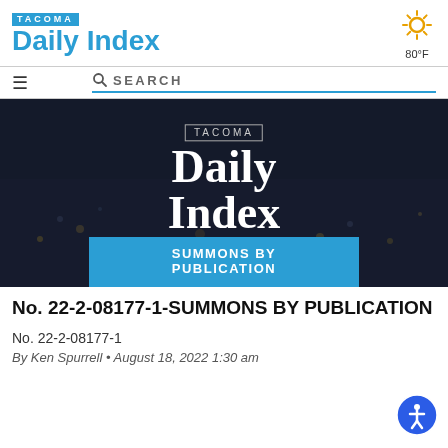TACOMA Daily Index
[Figure (logo): Sun/weather icon showing 80°F]
[Figure (screenshot): Tacoma Daily Index banner image with crowd background and 'SUMMONS BY PUBLICATION' text overlay]
No. 22-2-08177-1-SUMMONS BY PUBLICATION
No. 22-2-08177-1
By Ken Spurrell • August 18, 2022 1:30 am